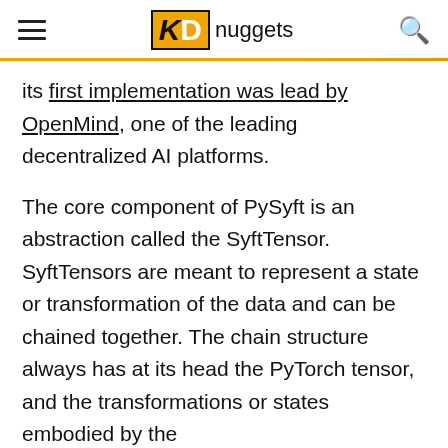KD nuggets
its first implementation was lead by OpenMind, one of the leading decentralized AI platforms.
The core component of PySyft is an abstraction called the SyftTensor. SyftTensors are meant to represent a state or transformation of the data and can be chained together. The chain structure always has at its head the PyTorch tensor, and the transformations or states embodied by the